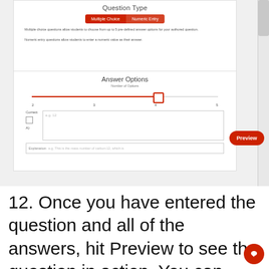[Figure (screenshot): Screenshot of a quiz builder interface showing 'Question Type' selector with 'Multiple Choice' and 'Numeric Entry' buttons, and an 'Answer Options' panel with a slider set to 4 options, a checkbox for Correct, an answer input field, and a Preview button.]
12. Once you have entered the question and all of the answers, hit Preview to see the question in action. You can even answer the question to check on the feedback that will be